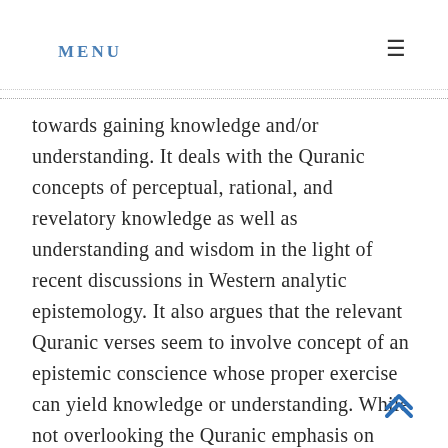MENU ≡
towards gaining knowledge and/or understanding. It deals with the Quranic concepts of perceptual, rational, and revelatory knowledge as well as understanding and wisdom in the light of recent discussions in Western analytic epistemology. It also argues that the relevant Quranic verses seem to involve concept of an epistemic conscience whose proper exercise can yield knowledge or understanding. While not overlooking the Quranic emphasis on revelation as a source